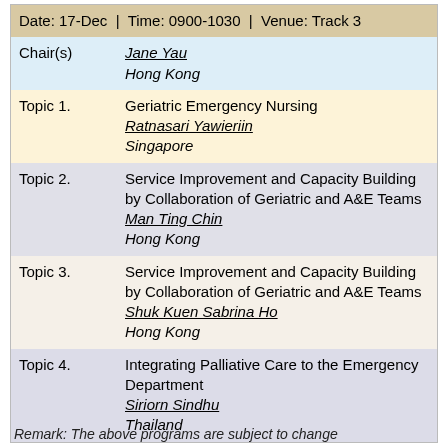| Date: 17-Dec  |  Time: 0900-1030  |  Venue: Track 3 |  |
| Chair(s) | Jane Yau
Hong Kong |
| Topic 1. | Geriatric Emergency Nursing
Ratnasari Yawieriin
Singapore |
| Topic 2. | Service Improvement and Capacity Building by Collaboration of Geriatric and A&E Teams
Man Ting Chin
Hong Kong |
| Topic 3. | Service Improvement and Capacity Building by Collaboration of Geriatric and A&E Teams
Shuk Kuen Sabrina Ho
Hong Kong |
| Topic 4. | Integrating Palliative Care to the Emergency Department
Siriorn Sindhu
Thailand |
Remark: The above programs are subject to change